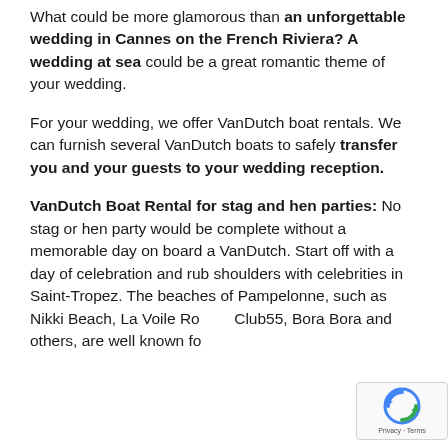What could be more glamorous than an unforgettable wedding in Cannes on the French Riviera? A wedding at sea could be a great romantic theme of your wedding.
For your wedding, we offer VanDutch boat rentals. We can furnish several VanDutch boats to safely transfer you and your guests to your wedding reception.
VanDutch Boat Rental for stag and hen parties: No stag or hen party would be complete without a memorable day on board a VanDutch. Start off with a day of celebration and rub shoulders with celebrities in Saint-Tropez. The beaches of Pampelonne, such as Nikki Beach, La Voile Rouge, Club55, Bora Bora and others, are well known for
[Figure (other): reCAPTCHA badge with Privacy - Terms text]